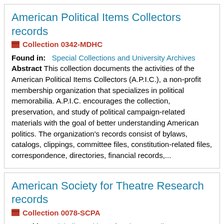American Political Items Collectors records
Collection 0342-MDHC
Found in: Special Collections and University Archives
Abstract This collection documents the activities of the American Political Items Collectors (A.P.I.C.), a non-profit membership organization that specializes in political memorabilia. A.P.I.C. encourages the collection, preservation, and study of political campaign-related materials with the goal of better understanding American politics. The organization's records consist of bylaws, catalogs, clippings, committee files, constitution-related files, correspondence, directories, financial records,...
American Society for Theatre Research records
Collection 0078-SCPA
Found in: Michelle Smith Performing Arts Library
Abstract The American Society for Theatre Research is a professional...